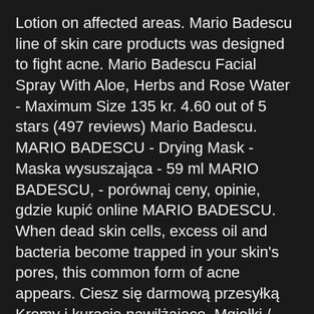Lotion on affected areas. Mario Badescu line of skin care products was designed to fight acne. Mario Badescu Facial Spray With Aloe, Herbs and Rose Water - Maximum Size 135 kr. 4.60 out of 5 stars (497 reviews) Mario Badescu. MARIO BADESCU - Drying Mask - Maska wysuszająca - 59 ml MARIO BADESCU, - porównaj ceny, opinie, gdzie kupić online MARIO BADESCU. When dead skin cells, excess oil and bacteria become trapped in your skin's pores, this common form of acne appears. Ciesz się darmową przesyłką Kremy i kuracje nawilżające, Mgiełki / toniki do twarzy & Żele i toniki i innymi dodatkami | Strawberrynet PL Masca Mario Badescu Drying Mask TIP DE PIELE: Potrivit pentru toate tipurile de ten. Roer ned og